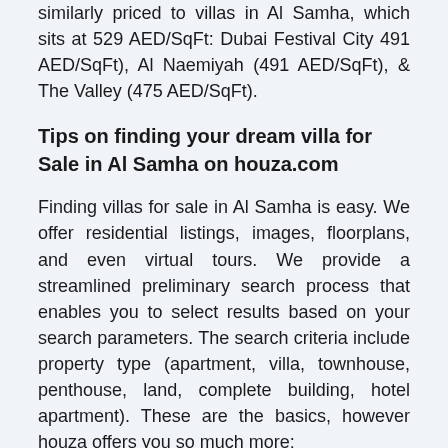There are 3 communities in Abu Dhabi that are similarly priced to villas in Al Samha, which sits at 529 AED/SqFt: Dubai Festival City 491 AED/SqFt), Al Naemiyah (491 AED/SqFt), & The Valley (475 AED/SqFt).
Tips on finding your dream villa for Sale in Al Samha on houza.com
Finding villas for sale in Al Samha is easy. We offer residential listings, images, floorplans, and even virtual tours. We provide a streamlined preliminary search process that enables you to select results based on your search parameters. The search criteria include property type (apartment, villa, townhouse, penthouse, land, complete building, hotel apartment). These are the basics, however houza offers you so much more:
Exclusive villas for Sale in Al Samha